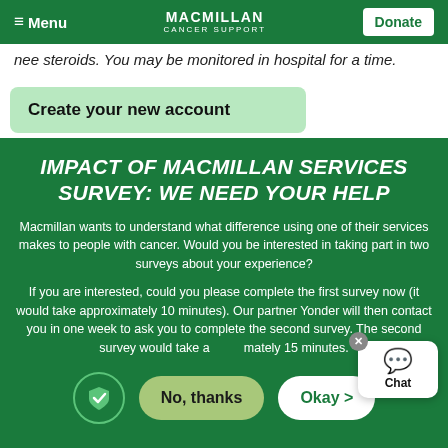≡ Menu | MACMILLAN CANCER SUPPORT | Donate
nee steroids. You may be monitored in hospital for a time.
Create your new account
IMPACT OF MACMILLAN SERVICES SURVEY: WE NEED YOUR HELP
Macmillan wants to understand what difference using one of their services makes to people with cancer. Would you be interested in taking part in two surveys about your experience?
If you are interested, could you please complete the first survey now (it would take approximately 10 minutes). Our partner Yonder will then contact you in one week to ask you to complete the second survey. The second survey would take approximately 15 minutes.
No, thanks
Okay >